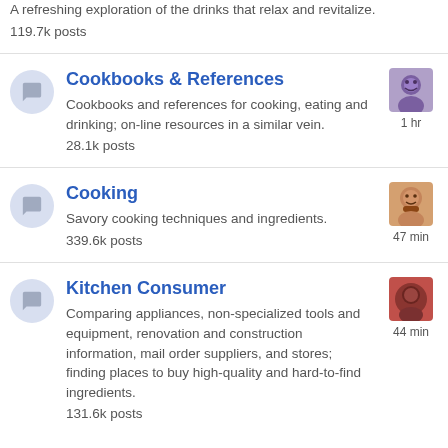A refreshing exploration of the drinks that relax and revitalize.
119.7k posts
Cookbooks & References
Cookbooks and references for cooking, eating and drinking; on-line resources in a similar vein.
28.1k posts
1 hr
Cooking
Savory cooking techniques and ingredients.
339.6k posts
47 min
Kitchen Consumer
Comparing appliances, non-specialized tools and equipment, renovation and construction information, mail order suppliers, and stores; finding places to buy high-quality and hard-to-find ingredients.
131.6k posts
44 min